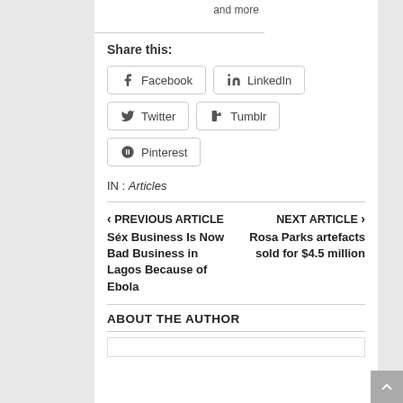and more
Share this:
Facebook
LinkedIn
Twitter
Tumblr
Pinterest
IN : Articles
< PREVIOUS ARTICLE
Séx Business Is Now Bad Business in Lagos Because of Ebola
NEXT ARTICLE >
Rosa Parks artefacts sold for $4.5 million
ABOUT THE AUTHOR